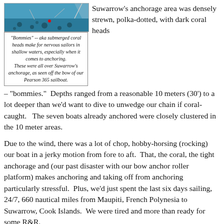[Figure (photo): Aerial or close-up image of submerged coral heads (bommies) in shallow water, viewed from boat bow]
"Bommies" -- aka submerged coral heads make for nervous sailors in shallow waters, especially when it comes to anchoring. These were all over Suwarrow's anchorage, as seen off the bow of our Pearson 365 sailboat.
Suwarrow's anchorage area was densely strewn, polka-dotted, with dark coral heads – "bommies."  Depths ranged from a reasonable 10 meters (30') to a lot deeper than we'd want to dive to unwedge our chain if coral-caught.   The seven boats already anchored were closely clustered in the 10 meter areas.
Due to the wind, there was a lot of chop, hobby-horsing (rocking) our boat in a jerky motion from fore to aft.  That, the coral, the tight anchorage and (our past disaster with our bow anchor roller platform) makes anchoring and taking off from anchoring particularly stressful.  Plus, we'd just spent the last six days sailing, 24/7, 660 nautical miles from Maupiti, French Polynesia to Suwarrow, Cook Islands.  We were tired and more than ready for some R&R.
Wayne found a good anchoring spot, positioned our boat into the wind and gave me the word to drop anchor.